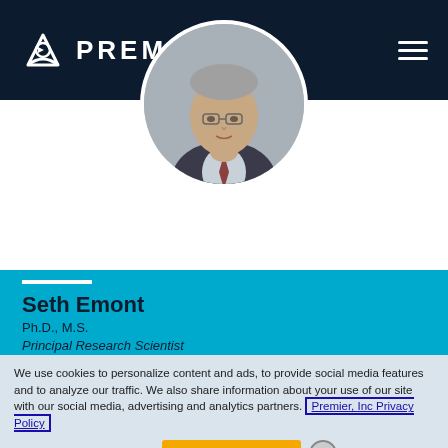PREMIER
[Figure (photo): Circular headshot photo of Seth Emont, a middle-aged man with glasses wearing a suit and tie, gray hair, against a gray background.]
Seth Emont
Ph.D., M.S.
Principal Research Scientist
We use cookies to personalize content and ads, to provide social media features and to analyze our traffic. We also share information about your use of our site with our social media, advertising and analytics partners. Premier, Inc Privacy Policy
❯ OPT-OUT of COOKIES   ✓ Accept Cookies